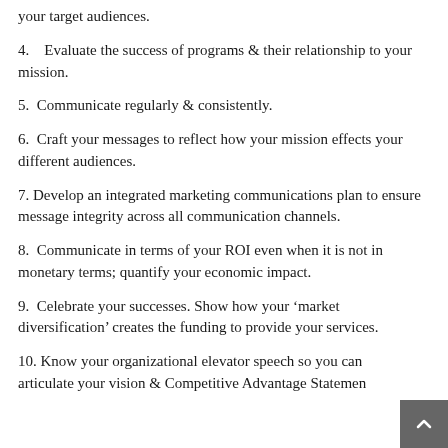your target audiences.
4.    Evaluate the success of programs & their relationship to your mission.
5.  Communicate regularly & consistently.
6.  Craft your messages to reflect how your mission effects your different audiences.
7. Develop an integrated marketing communications plan to ensure message integrity across all communication channels.
8.  Communicate in terms of your ROI even when it is not in monetary terms; quantify your economic impact.
9.  Celebrate your successes. Show how your ‘market diversification’ creates the funding to provide your services.
10. Know your organizational elevator speech so you can articulate your vision & Competitive Advantage Statement